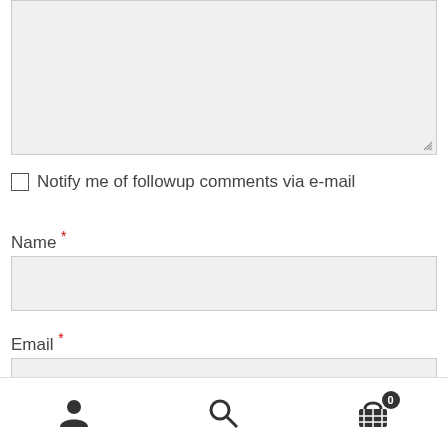[Figure (screenshot): A textarea input box with light gray background and resize handle at bottom right]
Notify me of followup comments via e-mail
Name *
[Figure (screenshot): Name text input field with light gray background]
Email *
[Figure (screenshot): Email text input field with light gray background]
[Figure (screenshot): Bottom navigation toolbar with user icon, search icon, and shopping cart icon with badge showing 0]